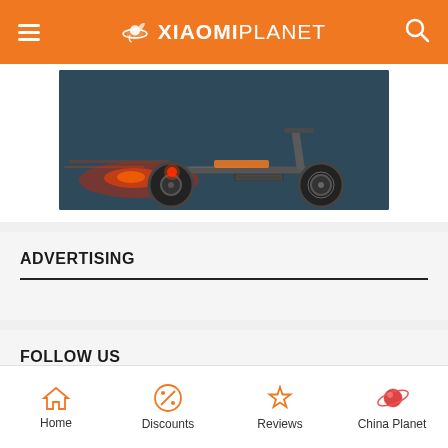XIAOMIPLANET
[Figure (photo): Electric scooter action shot with red tail light glow on dark blue-grey background]
ADVERTISING
FOLLOW US
Home  Discounts  Reviews  China Planet